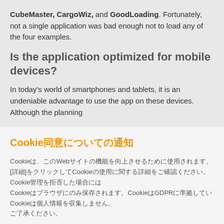CubeMaster, CargoWiz, and GoodLoading. Fortunately, not a single application was bad enough not to load any of the four examples.
Is the application optimized for mobile devices?
In today's world of smartphones and tablets, it is an undeniable advantage to use the app on these devices. Although the planning
Cookie同意についての通知
CookieはWebサイトの機能を向上させるために使用されます。[詳細]をクリックしてCookieの使用に関する詳細をご確認ください。Cookieの管理を拒否した場合、 ICookieはブラウザにのみ保存されます。Cookieは個人情報を収集しCookieはGDPRに準拠しています。
すべて受け入れる
Cookie設定